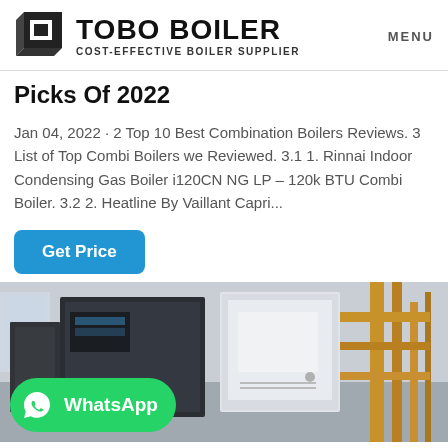TOBO BOILER COST-EFFECTIVE BOILER SUPPLIER | MENU
Picks Of 2022
Jan 04, 2022 · 2 Top 10 Best Combination Boilers Reviews. 3 List of Top Combi Boilers we Reviewed. 3.1 1. Rinnai Indoor Condensing Gas Boiler i120CN NG LP – 120k BTU Combi Boiler. 3.2 2. Heatline By Vaillant Capri...
Get Price
[Figure (photo): Industrial boiler equipment in a facility with copper/yellow pipes and large white/grey metal enclosures, with a WhatsApp button overlay in green]